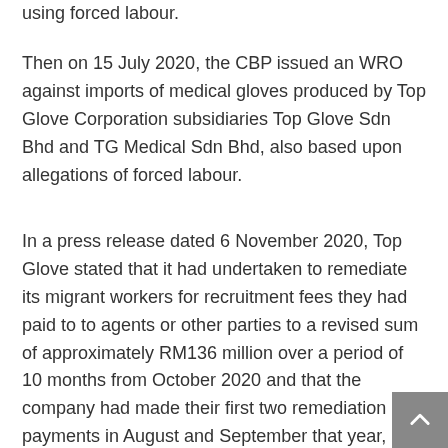using forced labour.
Then on 15 July 2020, the CBP issued an WRO against imports of medical gloves produced by Top Glove Corporation subsidiaries Top Glove Sdn Bhd and TG Medical Sdn Bhd, also based upon allegations of forced labour.
In a press release dated 6 November 2020, Top Glove stated that it had undertaken to remediate its migrant workers for recruitment fees they had paid to to agents or other parties to a revised sum of approximately RM136 million over a period of 10 months from October 2020 and that the company had made their first two remediation payments in August and September that year, and that the